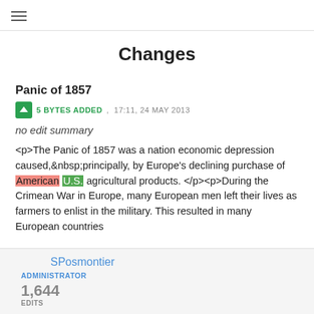≡
Changes
Panic of 1857
5 BYTES ADDED , 17:11, 24 MAY 2013
no edit summary
<p>The Panic of 1857 was a nation economic depression caused,&nbsp;principally, by Europe's declining purchase of American U.S. agricultural products. </p><p>During the Crimean War in Europe, many European men left their lives as farmers to enlist in the military. This resulted in many European countries
SPosmontier
ADMINISTRATOR
1,644 EDITS